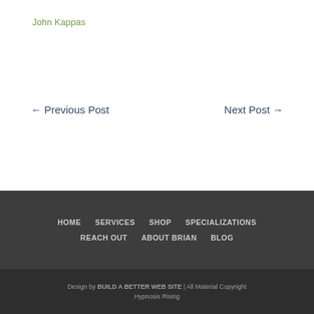John Kappas
← Previous Post    Next Post →
HOME  SERVICES  SHOP  SPECIALIZATIONS  REACH OUT  ABOUT BRIAN  BLOG
Design by BUILD A BETTER WEB SITE | All Material Copyright Hypnosis Rising